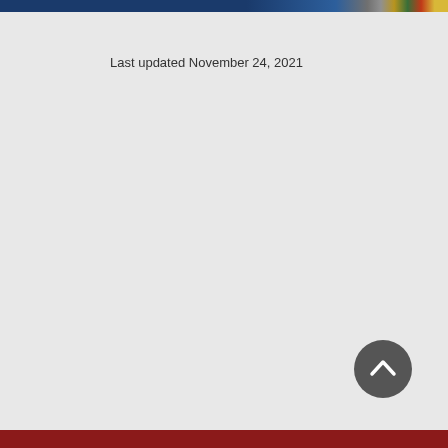Last updated November 24, 2021